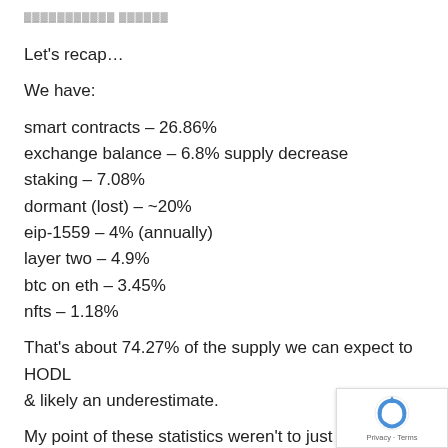▓▓▓▓▓▓▓▓▓▓▓ ▓▓▓▓▓▓
Let's recap…
We have:
smart contracts – 26.86%
exchange balance – 6.8% supply decrease
staking – 7.08%
dormant (lost) – ~20%
eip-1559 – 4% (annually)
layer two – 4.9%
btc on eth – 3.45%
nfts – 1.18%
That's about 74.27% of the supply we can expect to HODL & likely an underestimate.
My point of these statistics weren't to just shill ETH, but